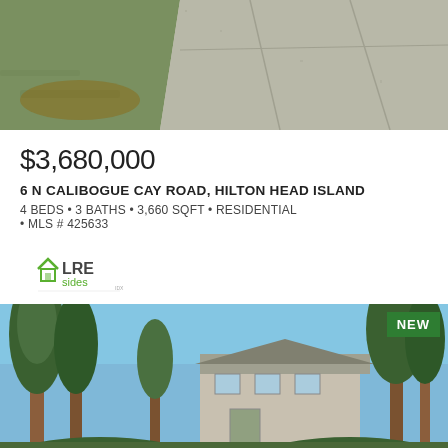[Figure (photo): Aerial or close-up view of a concrete driveway with green lawn alongside, gray gravel textures]
$3,680,000
6 N CALIBOGUE CAY ROAD, HILTON HEAD ISLAND
4 BEDS • 3 BATHS • 3,660 SQFT • RESIDENTIAL • MLS # 425633
[Figure (logo): LREsides real estate logo with house icon]
[Figure (photo): Exterior of a house surrounded by tall pine trees under a blue sky, with a NEW badge in the top right corner]